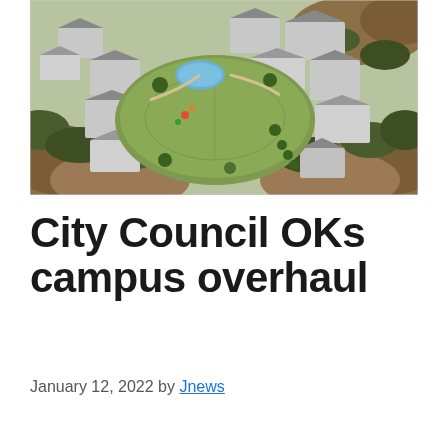[Figure (photo): Aerial view of a campus facility with buildings surrounding a central green lawn/field, set into a hillside landscape with brown rocky terrain and vegetation surrounding the campus.]
City Council OKs campus overhaul
January 12, 2022 by Jnews